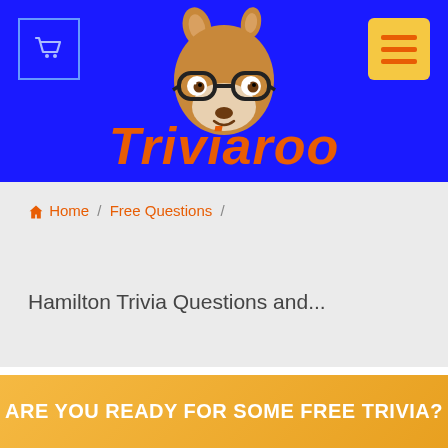[Figure (logo): Triviaroo website header with blue background, kangaroo mascot wearing glasses, cart icon top-left, hamburger menu icon top-right, and Triviaroo brand name in orange italic text]
Home / Free Questions /
Hamilton Trivia Questions and...
ARE YOU READY FOR SOME FREE TRIVIA?